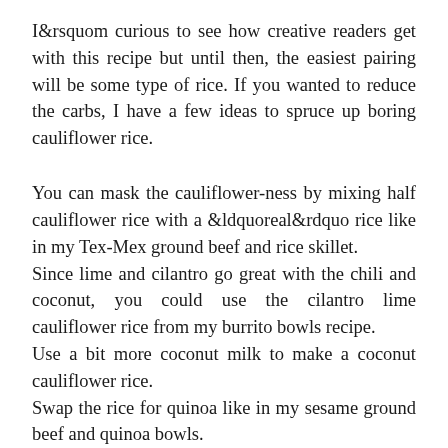I&rsquom curious to see how creative readers get with this recipe but until then, the easiest pairing will be some type of rice. If you wanted to reduce the carbs, I have a few ideas to spruce up boring cauliflower rice.
You can mask the cauliflower-ness by mixing half cauliflower rice with a &ldquoreal&rdquo rice like in my Tex-Mex ground beef and rice skillet.
Since lime and cilantro go great with the chili and coconut, you could use the cilantro lime cauliflower rice from my burrito bowls recipe.
Use a bit more coconut milk to make a coconut cauliflower rice.
Swap the rice for quinoa like in my sesame ground beef and quinoa bowls.
And then there&rsquos always the option of slightly lower carb rice products like Right Rice or Banza&rsquos